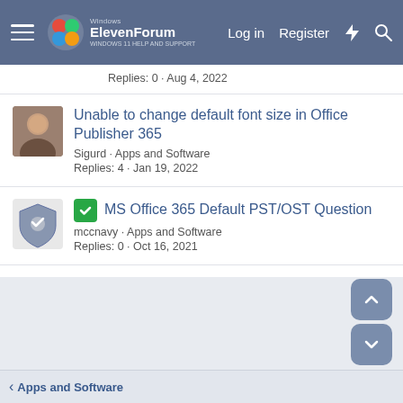Windows ElevenForum | Log in | Register
Replies: 0 · Aug 4, 2022
Unable to change default font size in Office Publisher 365
Sigurd · Apps and Software
Replies: 4 · Jan 19, 2022
MS Office 365 Default PST/OST Question
mccnavy · Apps and Software
Replies: 0 · Oct 16, 2021
New Notifications pane in Outlook for Windows
Brink · Windows 11 News
Replies: 0 · Jul 7, 2022
Apps and Software